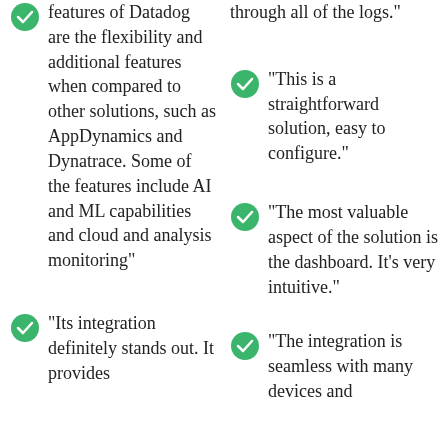"The most valuable features of Datadog are the flexibility and additional features when compared to other solutions, such as AppDynamics and Dynatrace. Some of the features include AI and ML capabilities and cloud and analysis monitoring"
"Its integration definitely stands out. It provides
through all of the logs."
"This is a straightforward solution, easy to configure."
"The most valuable aspect of the solution is the dashboard. It's very intuitive."
"The integration is seamless with many devices and